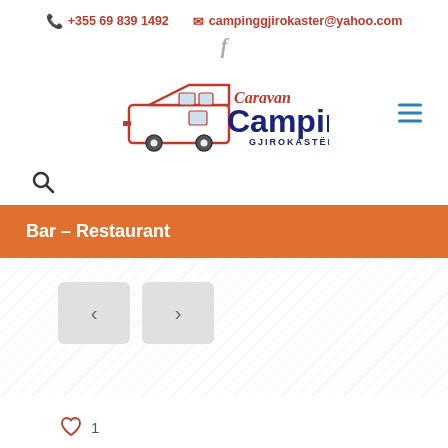📞 +355 69 839 1492  ✉ campinggjirokaster@yahoo.com
[Figure (logo): Caravan Camping Gjirokaster logo with caravan illustration, red and dark blue text]
Bar – Restaurant
[Figure (screenshot): Navigation buttons (left arrow and right arrow) for image gallery slider]
♡ 1